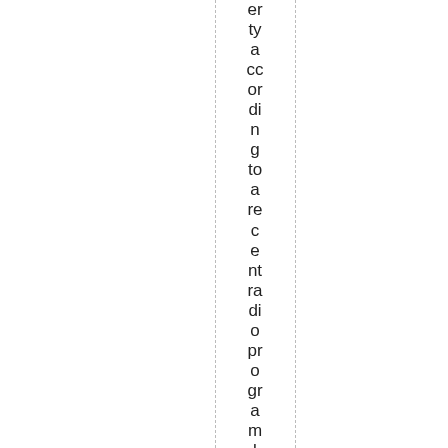er ty a cc or di n g to a re c e nt ra di o pr o gr a m l h e ar d, th e w